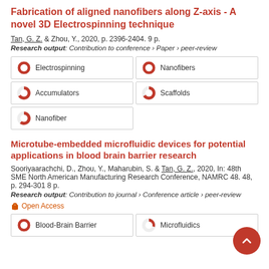Fabrication of aligned nanofibers along Z-axis - A novel 3D Electrospinning technique
Tan, G. Z. & Zhou, Y., 2020, p. 2396-2404. 9 p.
Research output: Contribution to conference › Paper › peer-review
[Figure (infographic): Five keyword badges with donut-style percentage icons: Electrospinning (100%), Nanofibers (100%), Accumulators (~70%), Scaffolds (~70%), Nanofiber (~60%)]
Microtube-embedded microfluidic devices for potential applications in blood brain barrier research
Sooriyaarachchi, D., Zhou, Y., Maharubin, S. & Tan, G. Z., 2020, In: 48th SME North American Manufacturing Research Conference, NAMRC 48. 48, p. 294-301 8 p.
Research output: Contribution to journal › Conference article › peer-review
Open Access
[Figure (infographic): Two keyword badges visible: Blood-Brain Barrier (100%), Microfluidics (~55%)]